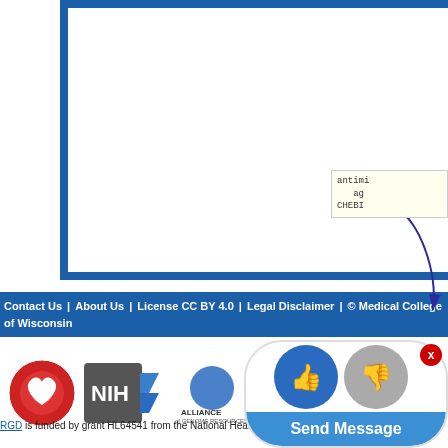[Figure (screenshot): Partial screenshot of a biomedical ontology diagram showing a blue-bordered box (top and left borders visible) and a yellow tooltip box with text 'antimicrobial agents CHEBI:...' with a blue curved arrow pointing to it.]
Contact Us | About Us | License CC BY 4.0 | Legal Disclaimer | © Medical College of Wisconsin
[Figure (logo): RGD (Rat Genome Database) logo - red circular design with heart symbol]
[Figure (logo): NIH logo - dark grey hexagonal badge with NIH text and blue arrow]
[Figure (logo): Alliance of Genome Resources logo]
[Figure (screenshot): Send Message widget overlay with thumbs up/down icons and blue Send Message button with X close button]
RGD is funded by grant HL64541 from the National Heart, Lung, and Blood Institute